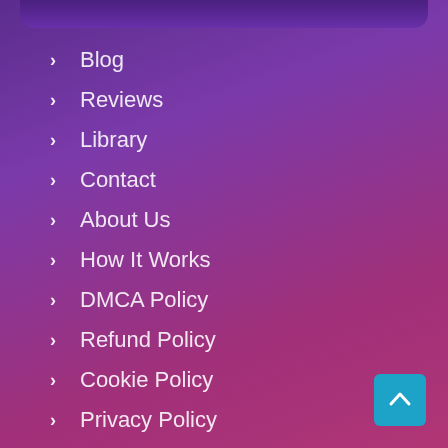Blog
Reviews
Library
Contact
About Us
How It Works
DMCA Policy
Refund Policy
Cookie Policy
Privacy Policy
Terms of Services
Take My Online Class
Do My Homework